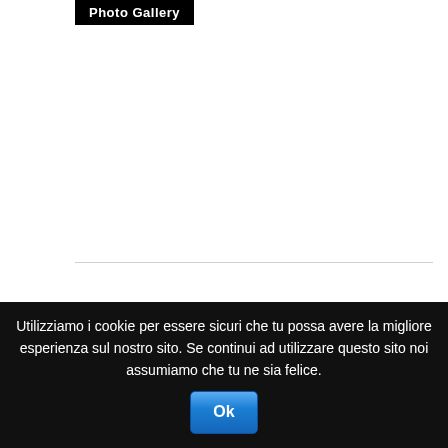Photo Gallery
Latest news
Veneto al 300X100
Utilizziamo i cookie per essere sicuri che tu possa avere la migliore esperienza sul nostro sito. Se continui ad utilizzare questo sito noi assumiamo che tu ne sia felice. Ok